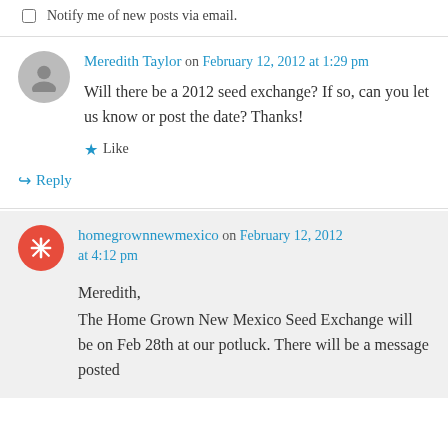Notify me of new posts via email.
Meredith Taylor on February 12, 2012 at 1:29 pm
Will there be a 2012 seed exchange? If so, can you let us know or post the date? Thanks!
Like
Reply
homegrownnewmexico on February 12, 2012 at 4:12 pm
Meredith,
The Home Grown New Mexico Seed Exchange will be on Feb 28th at our potluck. There will be a message posted